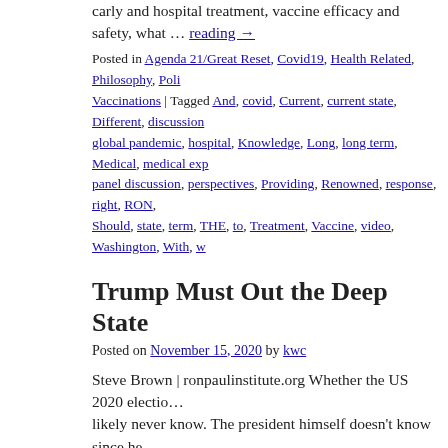carly and hospital treatment, vaccine efficacy and safety, what … Continue reading →
Posted in Agenda 21/Great Reset, Covid19, Health Related, Philosophy, Poli… Vaccinations | Tagged And, covid, Current, current state, Different, discussion… global pandemic, hospital, Knowledge, Long, long term, Medical, medical exp… panel discussion, perspectives, Providing, Renowned, response, right, RON,… Should, state, term, THE, to, Treatment, Vaccine, video, Washington, With, w…
Trump Must Out the Deep State
Posted on November 15, 2020 by kwc
Steve Brown | ronpaulinstitute.org Whether the US 2020 electio… likely never know. The president himself doesn't know since he… embarked on the palace coup that has seemingly … Continue re…
Posted in Headlines, Politics, Ponerology, Society | Tagged cesspool, deep st… Comments Off
The latest goss on infanticide